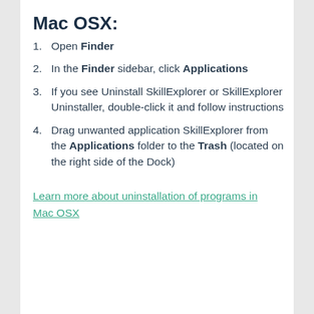Mac OSX:
Open Finder
In the Finder sidebar, click Applications
If you see Uninstall SkillExplorer or SkillExplorer Uninstaller, double-click it and follow instructions
Drag unwanted application SkillExplorer from the Applications folder to the Trash (located on the right side of the Dock)
Learn more about uninstallation of programs in Mac OSX